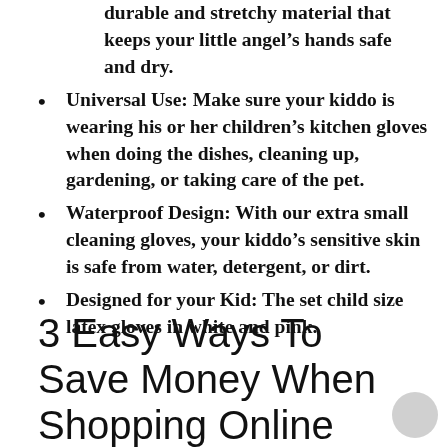durable and stretchy material that keeps your little angel's hands safe and dry.
Universal Use: Make sure your kiddo is wearing his or her children's kitchen gloves when doing the dishes, cleaning up, gardening, or taking care of the pet.
Waterproof Design: With our extra small cleaning gloves, your kiddo's sensitive skin is safe from water, detergent, or dirt.
Designed for your Kid: The set child size latex gloves in white and pink.
3 Easy Ways To Save Money When Shopping Online